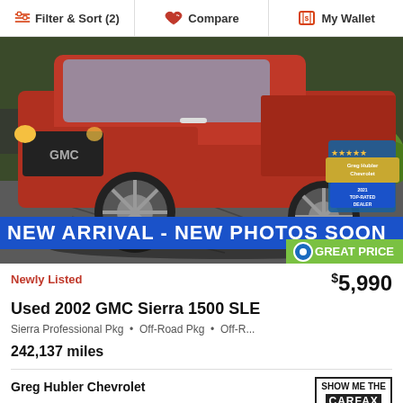Filter & Sort (2)   Compare   My Wallet
[Figure (photo): Red GMC Sierra 1500 pickup truck parked in a lot, front-quarter view. Banner overlay reads NEW ARRIVAL - NEW PHOTOS SOON. Dealer badge in corner shows Greg Hubler Chevrolet Top-Rated Dealer. Great Price badge bottom right.]
Newly Listed
$5,990
Used 2002 GMC Sierra 1500 SLE
Sierra Professional Pkg • Off-Road Pkg • Off-R...
242,137 miles
Greg Hubler Chevrolet
KBB.com Rating ★ 4.6
(317) 548-4271  |  Confirm Availability